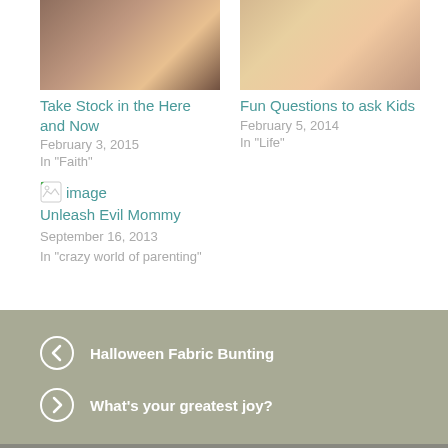[Figure (photo): Partially visible photo of a person, warm tones]
[Figure (photo): Partially visible photo of a smiling person holding something]
Take Stock in the Here and Now
February 3, 2015
In "Faith"
Fun Questions to ask Kids
February 5, 2014
In "Life"
[Figure (photo): Broken image placeholder icon]
Unleash Evil Mommy
September 16, 2013
In "crazy world of parenting"
Halloween Fabric Bunting
What's your greatest joy?